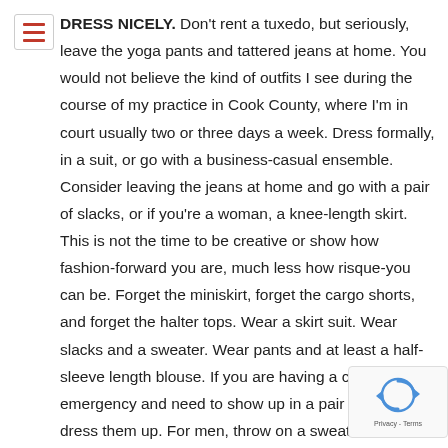DRESS NICELY. Don't rent a tuxedo, but seriously, leave the yoga pants and tattered jeans at home. You would not believe the kind of outfits I see during the course of my practice in Cook County, where I'm in court usually two or three days a week. Dress formally, in a suit, or go with a business-casual ensemble. Consider leaving the jeans at home and go with a pair of slacks, or if you're a woman, a knee-length skirt. This is not the time to be creative or show how fashion-forward you are, much less how risque-you can be. Forget the miniskirt, forget the cargo shorts, and forget the halter tops. Wear a skirt suit. Wear slacks and a sweater. Wear pants and at least a half-sleeve length blouse. If you are having a clothing emergency and need to show up in a pair of jeans, dress them up. For men, throw on a sweater and a dress shirt with it; for women, add a pair of appropriate heels and throw on a blazer over your top. Don't bother with the five inch heels or the tennis
[Figure (other): reCAPTCHA badge with rotating arrows icon and Privacy - Terms text]